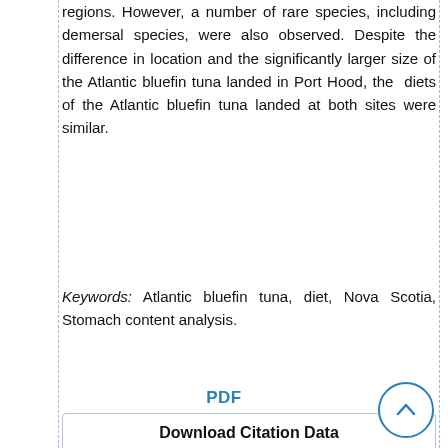regions. However, a number of rare species, including demersal species, were also observed. Despite the difference in location and the significantly larger size of the Atlantic bluefin tuna landed in Port Hood, the diets of the Atlantic bluefin tuna landed at both sites were similar.
Keywords: Atlantic bluefin tuna, diet, Nova Scotia, Stomach content analysis.
PDF
Download Citation Data